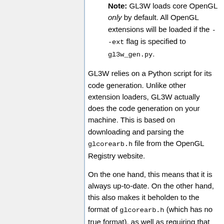Note: GL3W loads core OpenGL only by default. All OpenGL extensions will be loaded if the --ext flag is specified to gl3w_gen.py.
GL3W relies on a Python script for its code generation. Unlike other extension loaders, GL3W actually does the code generation on your machine. This is based on downloading and parsing the glcorearb.h file from the OpenGL Registry website.
On the one hand, this means that it is always up-to-date. On the other hand, this also makes it beholden to the format of glcorearb.h (which has no true format), as well as requiring that the user of GL3W have a Python installation.